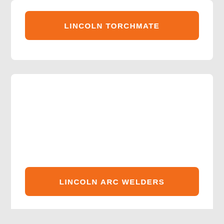[Figure (other): White card panel (top, partial) with orange button labeled LINCOLN TORCHMATE]
LINCOLN TORCHMATE
[Figure (other): White card panel (bottom) with orange button labeled LINCOLN ARC WELDERS]
LINCOLN ARC WELDERS